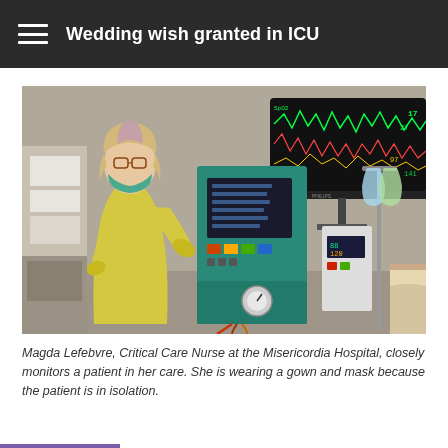Wedding wish granted in ICU
[Figure (photo): A nurse in a yellow gown and blue gloves wearing a face mask tends to ICU medical equipment including monitors and infusion pumps. A patient is visible in bed to the right. A cardiac monitor with waveforms is visible in the upper right background.]
Magda Lefebvre, Critical Care Nurse at the Misericordia Hospital, closely monitors a patient in her care. She is wearing a gown and mask because the patient is in isolation.